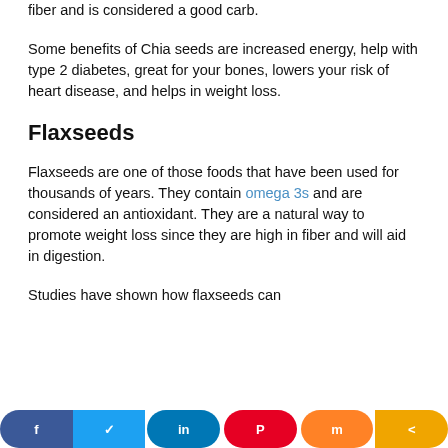fiber and is considered a good carb.
Some benefits of Chia seeds are increased energy, help with type 2 diabetes, great for your bones, lowers your risk of heart disease, and helps in weight loss.
Flaxseeds
Flaxseeds are one of those foods that have been used for thousands of years. They contain omega 3s and are considered an antioxidant. They are a natural way to promote weight loss since they are high in fiber and will aid in digestion.
Studies have shown how flaxseeds can